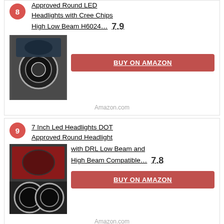8 - Approved Round LED Headlights with Cree Chips High Low Beam H6024... 7.9
BUY ON AMAZON
Amazon.com
9 - 7 Inch Led Headlights DOT Approved Round Headlight with DRL Low Beam and High Beam Compatible... 7.8
BUY ON AMAZON
Amazon.com
10 - OVOTOR LED Headlights 7